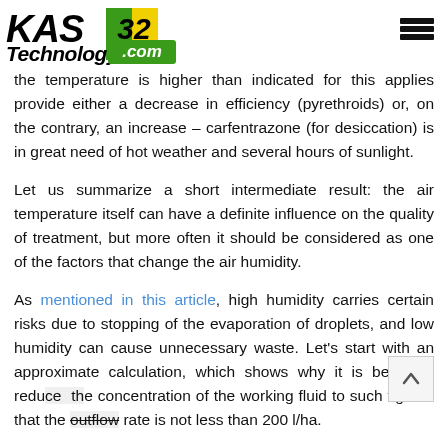[Figure (logo): KAS Technology 32.com logo with yellow/green badge and text]
the temperature is higher than indicated for this applies provide either a decrease in efficiency (pyrethroids) or, on the contrary, an increase – carfentrazone (for desiccation) is in great need of hot weather and several hours of sunlight.
Let us summarize a short intermediate result: the air temperature itself can have a definite influence on the quality of treatment, but more often it should be considered as one of the factors that change the air humidity.
As mentioned in this article, high humidity carries certain risks due to stopping of the evaporation of droplets, and low humidity can cause unnecessary waste. Let's start with an approximate calculation, which shows why it is better to reduce the concentration of the working fluid to such figures that the outflow rate is not less than 200 l/ha.